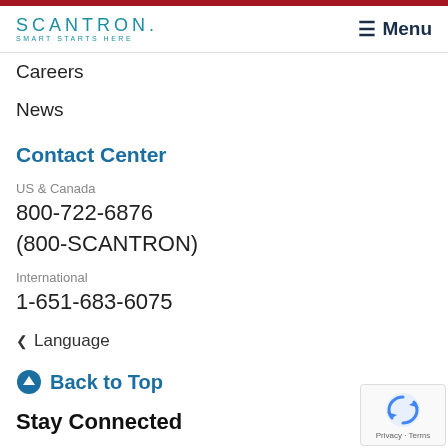SCANTRON. SMART STARTS HERE | Menu
Careers
News
Contact Center
US & Canada
800-722-6876
(800-SCANTRON)
International
1-651-683-6075
Language
Back to Top
Stay Connected
[Figure (logo): reCAPTCHA badge with Privacy - Terms text]